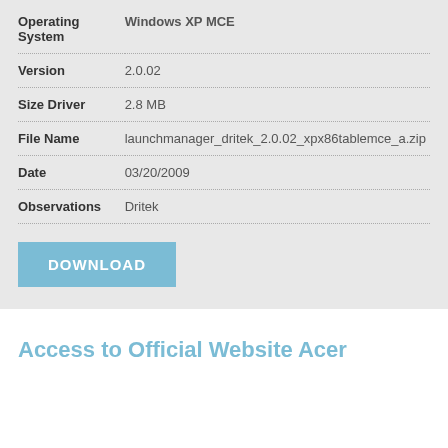| Field | Value |
| --- | --- |
| Operating System | Windows XP MCE |
| Version | 2.0.02 |
| Size Driver | 2.8 MB |
| File Name | launchmanager_dritek_2.0.02_xpx86tablemce_a.zip |
| Date | 03/20/2009 |
| Observations | Dritek |
DOWNLOAD
Access to Official Website Acer